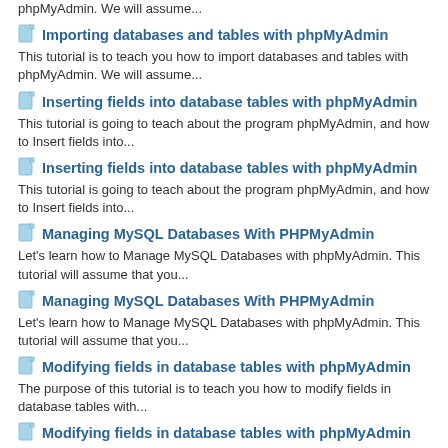phpMyAdmin. We will assume...
Importing databases and tables with phpMyAdmin
This tutorial is to teach you how to import databases and tables with phpMyAdmin. We will assume...
Inserting fields into database tables with phpMyAdmin
This tutorial is going to teach about the program phpMyAdmin, and how to Insert fields into...
Inserting fields into database tables with phpMyAdmin
This tutorial is going to teach about the program phpMyAdmin, and how to Insert fields into...
Managing MySQL Databases With PHPMyAdmin
Let's learn how to Manage MySQL Databases with phpMyAdmin. This tutorial will assume that you...
Managing MySQL Databases With PHPMyAdmin
Let's learn how to Manage MySQL Databases with phpMyAdmin. This tutorial will assume that you...
Modifying fields in database tables with phpMyAdmin
The purpose of this tutorial is to teach you how to modify fields in database tables with...
Modifying fields in database tables with phpMyAdmin
The purpose of this tutorial is to teach you how to modify fields in database tables with...